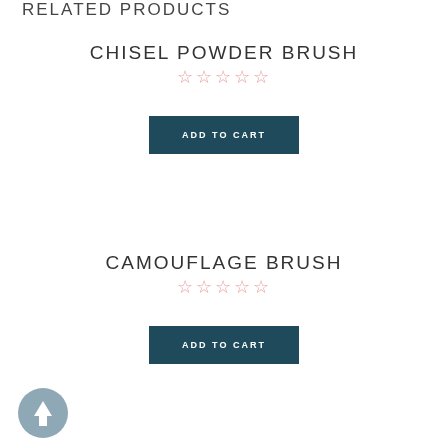RELATED PRODUCTS
CHISEL POWDER BRUSH
★★★★★ (empty stars rating)
ADD TO CART
CAMOUFLAGE BRUSH
★★★★★ (empty stars rating)
ADD TO CART
[Figure (illustration): Scroll to top button - circular grey arrow pointing upward]